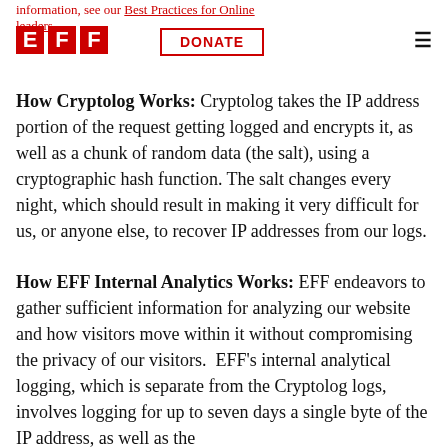information, see our Best Practices for Online leaders. [EFF logo] [DONATE] [menu]
How Cryptolog Works: Cryptolog takes the IP address portion of the request getting logged and encrypts it, as well as a chunk of random data (the salt), using a cryptographic hash function. The salt changes every night, which should result in making it very difficult for us, or anyone else, to recover IP addresses from our logs.
How EFF Internal Analytics Works: EFF endeavors to gather sufficient information for analyzing our website and how visitors move within it without compromising the privacy of our visitors.  EFF's internal analytical logging, which is separate from the Cryptolog logs, involves logging for up to seven days a single byte of the IP address, as well as the